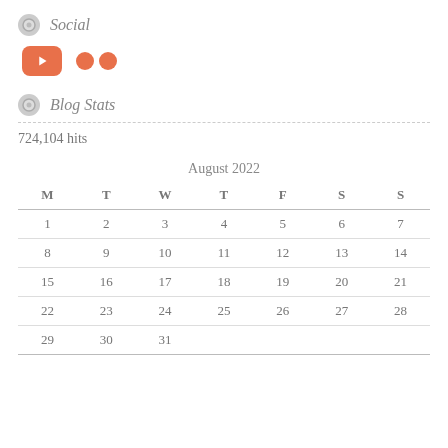Social
[Figure (illustration): YouTube and Flickr social media icons in coral/orange color]
Blog Stats
724,104 hits
| M | T | W | T | F | S | S |
| --- | --- | --- | --- | --- | --- | --- |
| 1 | 2 | 3 | 4 | 5 | 6 | 7 |
| 8 | 9 | 10 | 11 | 12 | 13 | 14 |
| 15 | 16 | 17 | 18 | 19 | 20 | 21 |
| 22 | 23 | 24 | 25 | 26 | 27 | 28 |
| 29 | 30 | 31 |  |  |  |  |